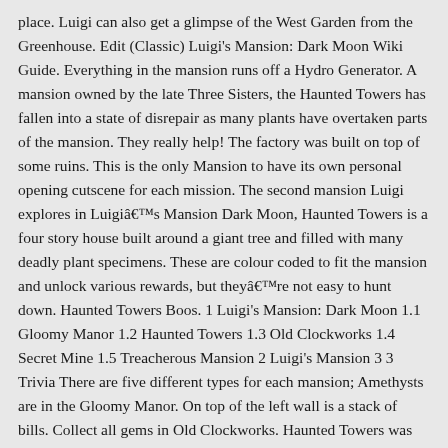place. Luigi can also get a glimpse of the West Garden from the Greenhouse. Edit (Classic) Luigi's Mansion: Dark Moon Wiki Guide. Everything in the mansion runs off a Hydro Generator. A mansion owned by the late Three Sisters, the Haunted Towers has fallen into a state of disrepair as many plants have overtaken parts of the mansion. They really help! The factory was built on top of some ruins. This is the only Mansion to have its own personal opening cutscene for each mission. The second mansion Luigi explores in Luigi&#x00e2;&#x0080;&#x0099;s Mansion Dark Moon, Haunted Towers is a four story house built around a giant tree and filled with many deadly plant specimens. These are colour coded to fit the mansion and unlock various rewards, but they&#x00e2;&#x0080;&#x0099;re not easy to hunt down. Haunted Towers Boos. 1 Luigi's Mansion: Dark Moon 1.1 Gloomy Manor 1.2 Haunted Towers 1.3 Old Clockworks 1.4 Secret Mine 1.5 Treacherous Mansion 2 Luigi's Mansion 3 3 Trivia There are five different types for each mansion; Amethysts are in the Gloomy Manor. On top of the left wall is a stack of bills. Collect all gems in Old Clockworks. Haunted Towers was abandoned for some time and was used as a greenhouse prior to its abandonment, but the whole area became infested with plants and started to fall apart. (Fifth floor in PAL version). From the Super Mario Wiki, the Mario encyclopedia. https://www.mariowiki.com/index.php?title=Haunted_Towers&oldid=3148142. Luigi's Mansion: Biggest Threa...